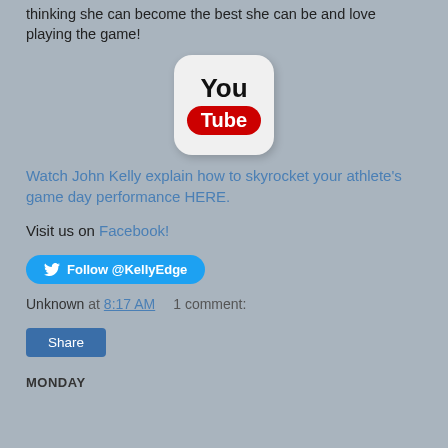thinking she can become the best she can be and love playing the game!
[Figure (logo): YouTube logo icon with 'You' in black text above a red rounded rectangle with 'Tube' in white text, on a light gray rounded square background]
Watch John Kelly explain how to skyrocket your athlete's game day performance HERE.
Visit us on Facebook!
Follow @KellyEdge
Unknown at 8:17 AM   1 comment:
Share
MONDAY